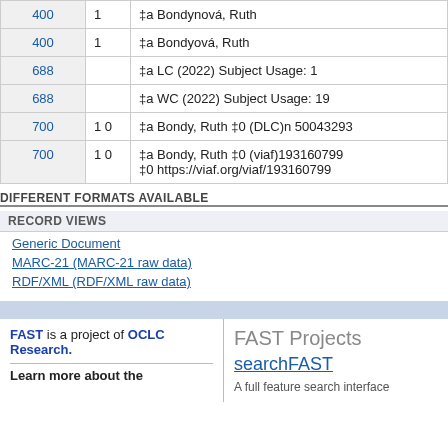| Tag | Ind | Content |
| --- | --- | --- |
| 400 | 1 | ‡a Bondynová, Ruth |
| 400 | 1 | ‡a Bondyová, Ruth |
| 688 |  | ‡a LC (2022) Subject Usage: 1 |
| 688 |  | ‡a WC (2022) Subject Usage: 19 |
| 700 | 1 0 | ‡a Bondy, Ruth ‡0 (DLC)n 50043293 |
| 700 | 1 0 | ‡a Bondy, Ruth ‡0 (viaf)193160799 ‡0 https://viaf.org/viaf/193160799 |
DIFFERENT FORMATS AVAILABLE
RECORD VIEWS
Generic Document
MARC-21 (MARC-21 raw data)
RDF/XML (RDF/XML raw data)
FAST is a project of OCLC Research. Learn more about the
FAST Projects searchFAST A full feature search interface